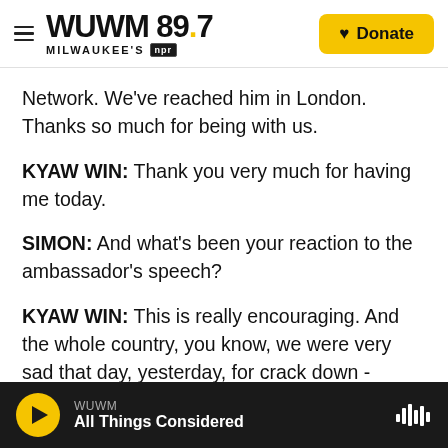WUWM 89.7 Milwaukee's NPR — Donate
Network. We've reached him in London. Thanks so much for being with us.
KYAW WIN: Thank you very much for having me today.
SIMON: And what's been your reaction to the ambassador's speech?
KYAW WIN: This is really encouraging. And the whole country, you know, we were very sad that day, yesterday, for crack down - violence crack down and then denied. When we heard this,
WUWM — All Things Considered